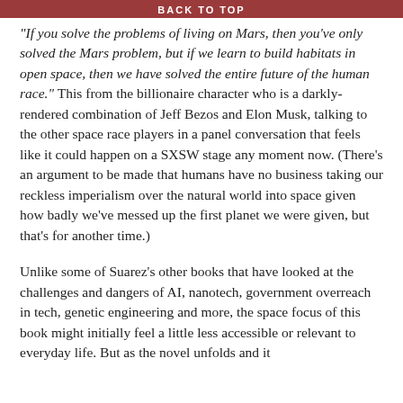BACK TO TOP
“If you solve the problems of living on Mars, then you’ve only solved the Mars problem, but if we learn to build habitats in open space, then we have solved the entire future of the human race.” This from the billionaire character who is a darkly-rendered combination of Jeff Bezos and Elon Musk, talking to the other space race players in a panel conversation that feels like it could happen on a SXSW stage any moment now. (There’s an argument to be made that humans have no business taking our reckless imperialism over the natural world into space given how badly we’ve messed up the first planet we were given, but that’s for another time.)
Unlike some of Suarez’s other books that have looked at the challenges and dangers of AI, nanotech, government overreach in tech, genetic engineering and more, the space focus of this book might initially feel a little less accessible or relevant to everyday life. But as the novel unfolds and it